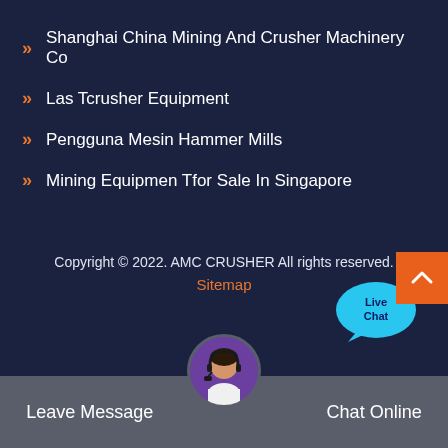Shanghai China Mining And Crusher Machinery Co
Las Tcrusher Equipment
Pengguna Mesin Hammer Mills
Mining Equipmen Tfor Sale In Singapore
[Figure (infographic): Live Chat bubble with cyan speech bubble and x close button]
Copyright © 2022. AMC CRUSHER All rights reserved.
Sitemap
Leave Message   Chat Online